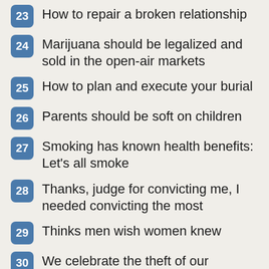23 How to repair a broken relationship
24 Marijuana should be legalized and sold in the open-air markets
25 How to plan and execute your burial
26 Parents should be soft on children
27 Smoking has known health benefits: Let's all smoke
28 Thanks, judge for convicting me, I needed convicting the most
29 Thinks men wish women knew
30 We celebrate the theft of our smartphones
31 Why advertising is a waste of money
32 Why do single woman love dogs, yet they say all men are dogs
33 If all men are dogs, then your father is the first dog